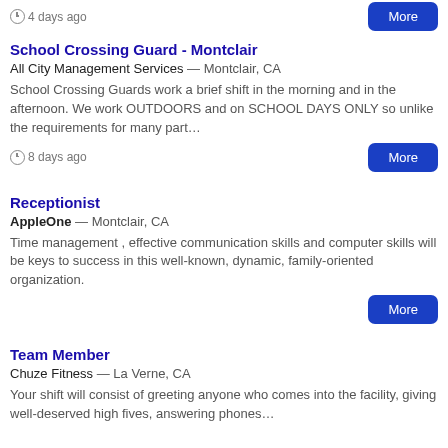4 days ago
School Crossing Guard - Montclair
All City Management Services — Montclair, CA
School Crossing Guards work a brief shift in the morning and in the afternoon. We work OUTDOORS and on SCHOOL DAYS ONLY so unlike the requirements for many part…
8 days ago
Receptionist
AppleOne — Montclair, CA
Time management , effective communication skills and computer skills will be keys to success in this well-known, dynamic, family-oriented organization.
Team Member
Chuze Fitness — La Verne, CA
Your shift will consist of greeting anyone who comes into the facility, giving well-deserved high fives, answering phones…